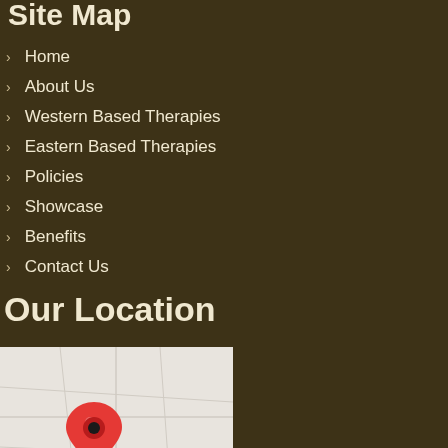Site Map
Home
About Us
Western Based Therapies
Eastern Based Therapies
Policies
Showcase
Benefits
Contact Us
Our Location
[Figure (map): Google Maps embed showing a location marker (red pin) on a light grey map area.]